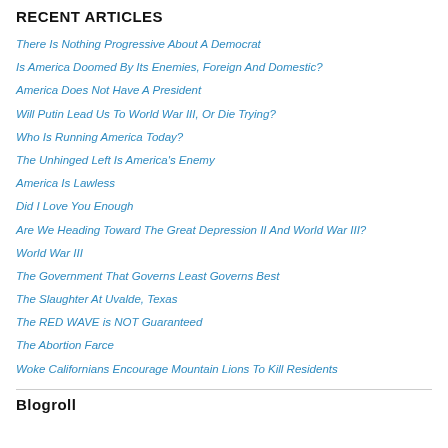RECENT ARTICLES
There Is Nothing Progressive About A Democrat
Is America Doomed By Its Enemies, Foreign And Domestic?
America Does Not Have A President
Will Putin Lead Us To World War III, Or Die Trying?
Who Is Running America Today?
The Unhinged Left Is America's Enemy
America Is Lawless
Did I Love You Enough
Are We Heading Toward The Great Depression II And World War III?
World War III
The Government That Governs Least Governs Best
The Slaughter At Uvalde, Texas
The RED WAVE is NOT Guaranteed
The Abortion Farce
Woke Californians Encourage Mountain Lions To Kill Residents
Blogroll